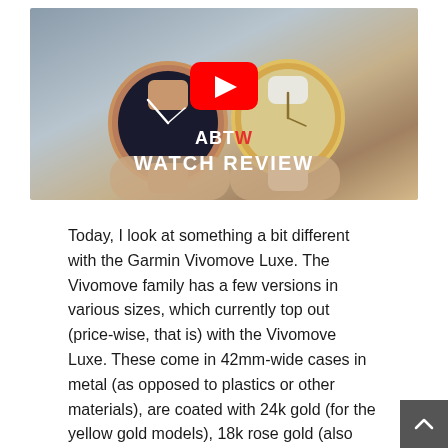[Figure (screenshot): YouTube video thumbnail for ABTW Watch Review showing two Garmin Vivomove Luxe watches being held in hands, with a red YouTube play button in the center and 'ABTW WATCH REVIEW' text overlay at the bottom.]
Today, I look at something a bit different with the Garmin Vivomove Luxe. The Vivomove family has a few versions in various sizes, which currently top out (price-wise, that is) with the Vivomove Luxe. These come in 42mm-wide cases in metal (as opposed to plastics or other materials), are coated with 24k gold (for the yellow gold models), 18k rose gold (also pictured), as well as natural polished steel. The Vivomove Luxe also benefits from having a synthetic sapphire crystal over the dial — which is the same highly scratch-resistant crystal material used for most luxury timepieces. Th